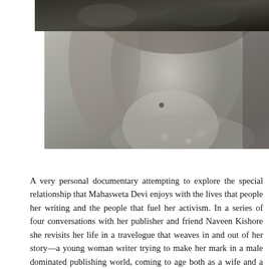[Figure (photo): Black and white photographs: a large photo on the left showing a close-up of a person (likely Mahasweta Devi) with visible mole on neck, and a smaller dark photo on the upper right.]
A very personal documentary attempting to explore the special relationship that Mahasweta Devi enjoys with the lives that people her writing and the people that fuel her activism. In a series of four conversations with her publisher and friend Naveen Kishore she revisits her life in a travelogue that weaves in and out of her story—a young woman writer trying to make her mark in a male dominated publishing world, coming to age both as a wife and a mother, a relationship with her once-estranged son—and the story of a nation in the throes of a freedom struggle, the realization that freedom is a privilege for the haves while the have-nots merely change masters in their struggle against slavery, the choice to actively oppose all that reeks of injustice, to record through her journalism and her fiction the less-than-human life of the tribals she has spent all